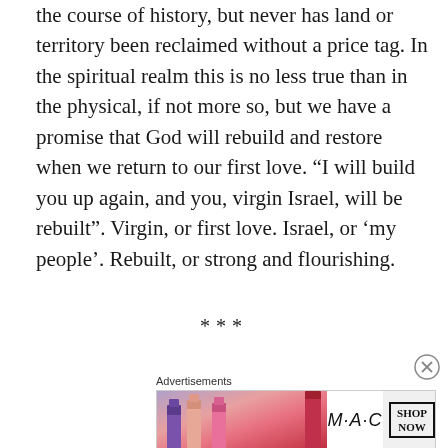the course of history, but never has land or territory been reclaimed without a price tag. In the spiritual realm this is no less true than in the physical, if not more so, but we have a promise that God will rebuild and restore when we return to our first love. “I will build you up again, and you, virgin Israel, will be rebuilt”. Virgin, or first love. Israel, or ‘my people’. Rebuilt, or strong and flourishing.
***
[Figure (other): MAC cosmetics advertisement showing lipsticks in purple, pink, and red colors with MAC logo and SHOP NOW button]